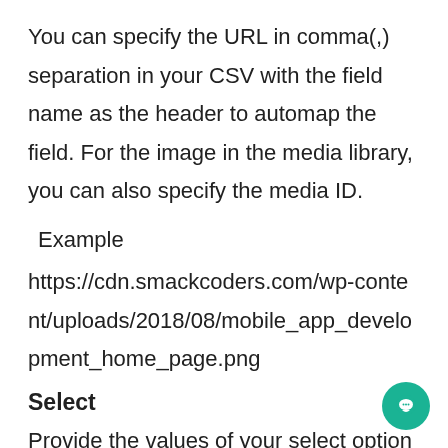You can specify the URL in comma(,) separation in your CSV with the field name as the header to automap the field. For the image in the media library, you can also specify the media ID.
Example
https://cdn.smackcoders.com/wp-content/uploads/2018/08/mobile_app_development_home_page.png
Select
Provide the values of your select option